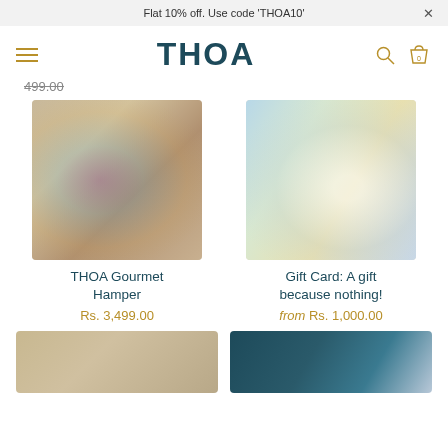Flat 10% off. Use code 'THOA10'
[Figure (logo): THOA brand logo with hamburger menu, search icon, and shopping bag icon]
499.00 (strikethrough)
[Figure (photo): THOA Gourmet Hamper product photo showing colorful items in a basket]
THOA Gourmet Hamper
Rs. 3,499.00
[Figure (photo): Gift Card product photo with light blue and gold design]
Gift Card: A gift because nothing!
from Rs. 1,000.00
[Figure (photo): Partial product thumbnail on bottom left]
[Figure (photo): Partial product thumbnail on bottom right with dark teal background]